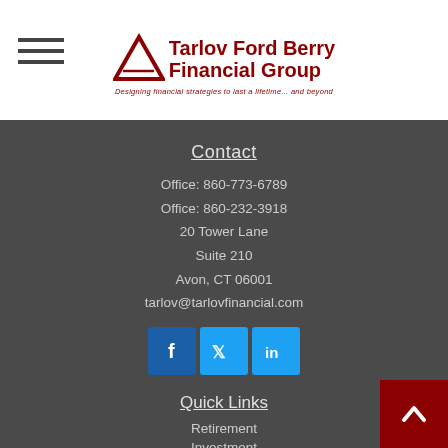[Figure (logo): Tarlov Ford Berry Financial Group logo with triangle icon and tagline 'Designing financial strategies to last a lifetime... and beyond']
Contact
Office: 860-773-6789
Office: 860-232-3918
20 Tower Lane
Suite 210
Avon, CT 06001
tarlov@tarlovfinancial.com
[Figure (infographic): Social media icons: Facebook, Twitter, LinkedIn]
Quick Links
Retirement
Investment
Estate